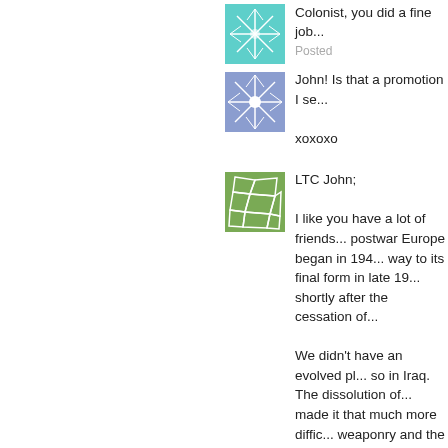[Figure (illustration): Teal/green snowflake decorative avatar icon]
Colonist, you did a fine job... Posted
[Figure (illustration): Blue/purple snowflake decorative avatar icon]
John! Is that a promotion I se...

xoxoxo
[Figure (illustration): Green geometric/voronoi pattern decorative avatar icon]
LTC John;

I like you have a lot of friends... postwar Europe began in 194... way to its final form in late 19... shortly after the cessation of...

We didn't have an evolved pl... so in Iraq. The dissolution of... made it that much more diffic... weaponry and the task of sec... country added the fuel to the... a sisyphean task. That was m... survive first contact regardless... work and it took 24 months to...